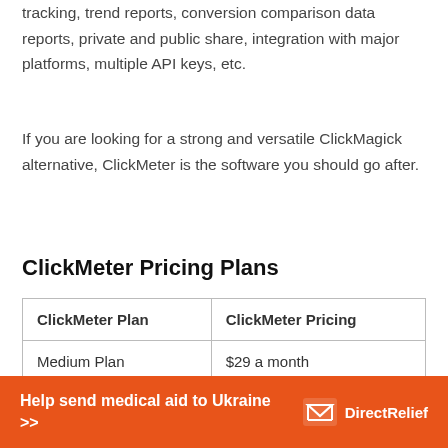tracking, trend reports, conversion comparison data reports, private and public share, integration with major platforms, multiple API keys, etc.
If you are looking for a strong and versatile ClickMagick alternative, ClickMeter is the software you should go after.
ClickMeter Pricing Plans
| ClickMeter Plan | ClickMeter Pricing |
| --- | --- |
| Medium Plan | $29 a month |
[Figure (infographic): Orange banner with text 'Help send medical aid to Ukraine >>' and DirectRelief logo on the right]